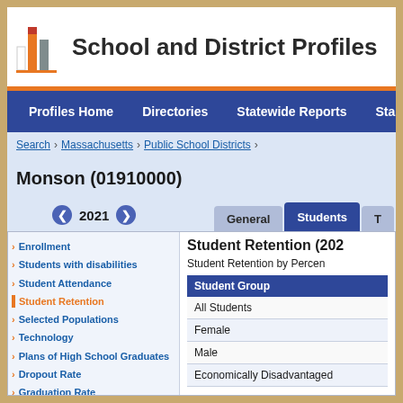School and District Profiles
Profiles Home | Directories | Statewide Reports | Sta
Search > Massachusetts > Public School Districts >
Monson (01910000)
2021
General | Students | T
Enrollment
Students with disabilities
Student Attendance
Student Retention
Selected Populations
Technology
Plans of High School Graduates
Dropout Rate
Graduation Rate
Mobility Rate
MassCore Completion
Attrition Rates
Class Size by Gender and Selected
Student Retention (2021)
Student Retention by Percent
| Student Group |
| --- |
| All Students |
| Female |
| Male |
| Economically Disadvantaged |